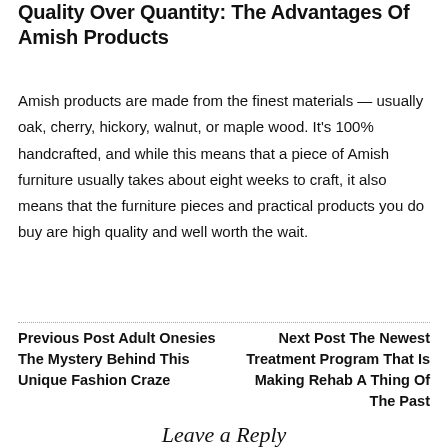Quality Over Quantity: The Advantages Of Amish Products
Amish products are made from the finest materials — usually oak, cherry, hickory, walnut, or maple wood. It's 100% handcrafted, and while this means that a piece of Amish furniture usually takes about eight weeks to craft, it also means that the furniture pieces and practical products you do buy are high quality and well worth the wait.
Previous Post Adult Onesies The Mystery Behind This Unique Fashion Craze
Next Post The Newest Treatment Program That Is Making Rehab A Thing Of The Past
Leave a Reply